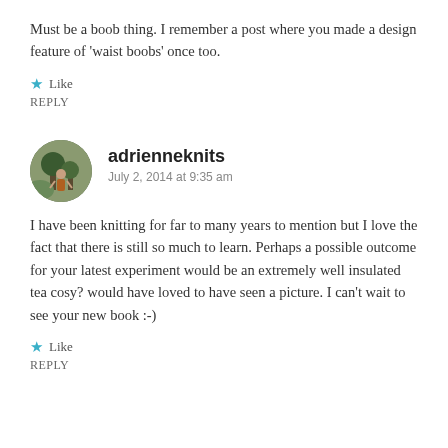Must be a boob thing. I remember a post where you made a design feature of 'waist boobs' once too.
Like
REPLY
adrienneknits
July 2, 2014 at 9:35 am
I have been knitting for far to many years to mention but I love the fact that there is still so much to learn. Perhaps a possible outcome for your latest experiment would be an extremely well insulated tea cosy? would have loved to have seen a picture. I can't wait to see your new book :-)
Like
REPLY